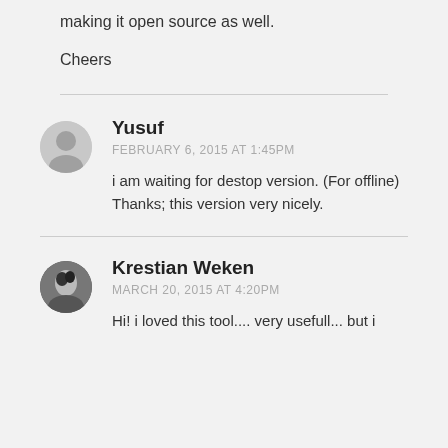making it open source as well.
Cheers
Yusuf
FEBRUARY 6, 2015 AT 1:45PM
i am waiting for destop version. (For offline)
Thanks; this version very nicely.
Krestian Weken
MARCH 20, 2015 AT 4:20PM
Hi! i loved this tool.... very usefull... but i